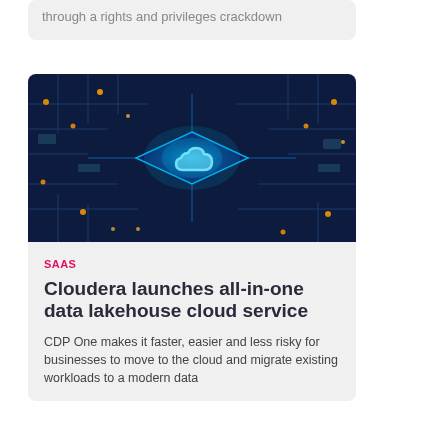through a rights and privileges crackdown
[Figure (photo): A glowing blue cloud icon on a circuit board chip with orange LED lights, dark blue background representing cloud computing technology]
SAAS
Cloudera launches all-in-one data lakehouse cloud service
CDP One makes it faster, easier and less risky for businesses to move to the cloud and migrate existing workloads to a modern data